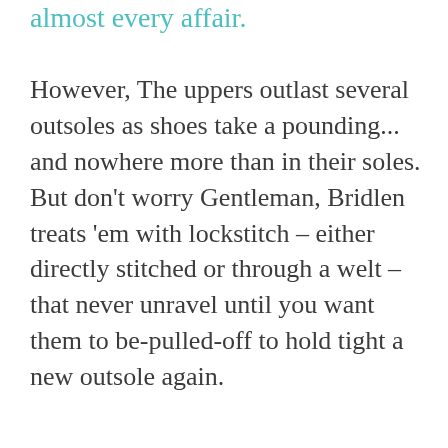almost every affair.
However, The uppers outlast several outsoles as shoes take a pounding... and nowhere more than in their soles. But don't worry Gentleman, Bridlen treats 'em with lockstitch – either directly stitched or through a welt – that never unravel until you want them to be-pulled-off to hold tight a new outsole again.